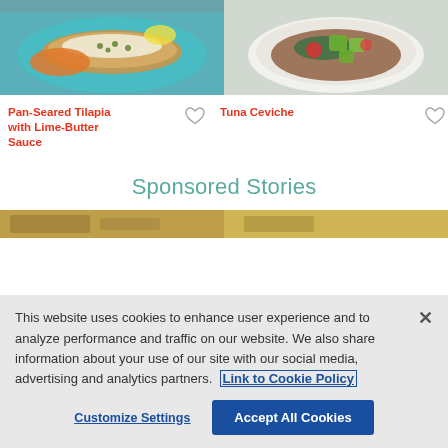[Figure (photo): Photo of Pan-Seared Tilapia with Lime-Butter Sauce on a teal tray with orange rice and capers]
Pan-Seared Tilapia with Lime-Butter Sauce
[Figure (photo): Photo of Tuna Ceviche with avocado, tomato, and greens on a tostada]
Tuna Ceviche
Sponsored Stories
[Figure (photo): Partial photo of sponsored story left]
[Figure (photo): Partial photo of sponsored story right]
This website uses cookies to enhance user experience and to analyze performance and traffic on our website. We also share information about your use of our site with our social media, advertising and analytics partners. Link to Cookie Policy
Customize Settings
Accept All Cookies